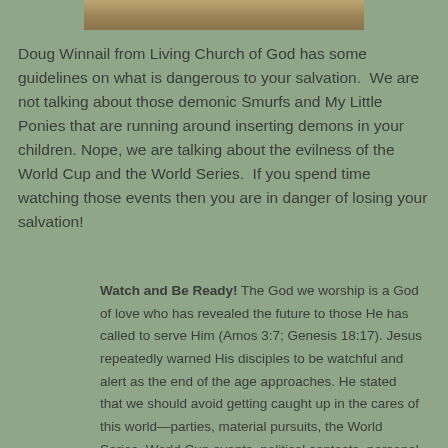[Figure (photo): A partial image strip showing an outdoor scene, cropped at the top of the page]
Doug Winnail from Living Church of God has some guidelines on what is dangerous to your salvation. We are not talking about those demonic Smurfs and My Little Ponies that are running around inserting demons in your children. Nope, we are talking about the evilness of the World Cup and the World Series. If you spend time watching those events then you are in danger of losing your salvation!
Watch and Be Ready! The God we worship is a God of love who has revealed the future to those He has called to serve Him (Amos 3:7; Genesis 18:17). Jesus repeatedly warned His disciples to be watchful and alert as the end of the age approaches. He stated that we should avoid getting caught up in the cares of this world—parties, material pursuits, the World Series, World Cup events, political contests, personal concerns, and other things